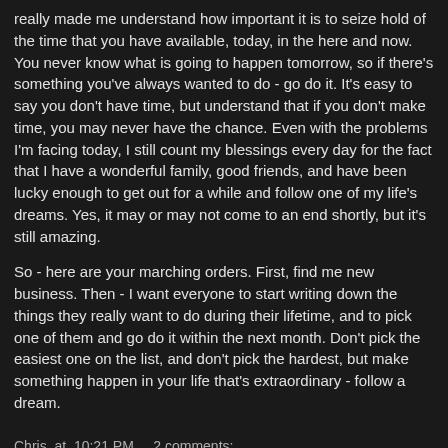really made me understand how important it is to seize hold of the time that you have available, today, in the here and now. You never know what is going to happen tomorrow, so if there's something you've always wanted to do - go do it. It's easy to say you don't have time, but understand that if you don't make time, you may never have the chance. Even with the problems I'm facing today, I still count my blessings every day for the fact that I have a wonderful family, good friends, and have been lucky enough to get out for a while and follow one of my life's dreams. Yes, it may or may not come to an end shortly, but it's still amazing.
So - here are your marching orders. First, find me new business. Then - I want everyone to start writing down the things they really want to do during their lifetime, and to pick one of them and go do it within the next month. Don't pick the easiest one on the list, and don't pick the hardest, but make something happen in your life that's extraordinary - follow a dream.
Chris at 10:21 PM   2 comments: